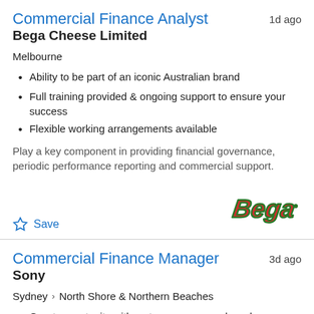Commercial Finance Analyst
1d ago
Bega Cheese Limited
Melbourne
Ability to be part of an iconic Australian brand
Full training provided & ongoing support to ensure your success
Flexible working arrangements available
Play a key component in providing financial governance, periodic performance reporting and commercial support.
Save
[Figure (logo): Bega brand logo in red cursive lettering with green outline]
Commercial Finance Manager
3d ago
Sony
Sydney > North Shore & Northern Beaches
Great opportunity with a strong consumer brand